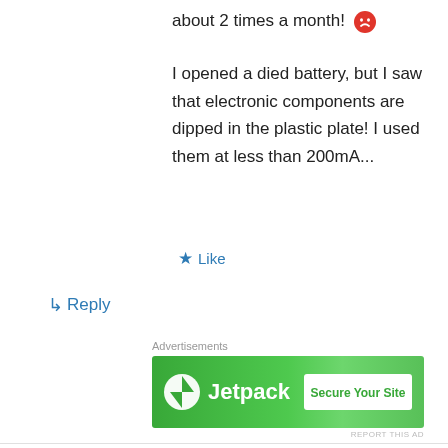about 2 times a month! 😠
I opened a died battery, but I saw that electronic components are dipped in the plastic plate! I used them at less than 200mA...
★ Like
↳ Reply
Advertisements
[Figure (screenshot): Jetpack advertisement banner with green background, Jetpack logo on left and 'Secure Your Site' button on right]
REPORT THIS AD
derrick warlow on April 24, 2019 at 4:21 am
Advertisements
[Figure (screenshot): ULTA beauty advertisement banner showing makeup images and SHOP NOW button]